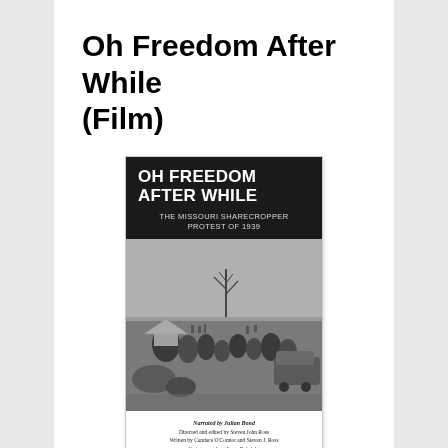Oh Freedom After While (Film)
[Figure (photo): Film cover/poster for 'Oh Freedom After While: The Missouri Sharecropper Protest of 1939'. Dark header with bold white text title, black-and-white photograph of sharecroppers gathered outdoors in a field, credits at bottom listing narrator Julian Bond, directed and edited by Steven John Ross, written by Candace O'Connor and Steven J. Ross, script consultant Lynn Rubright, produced by Candace O'Connor, Steven J. Ross and Lynn Rubright.]